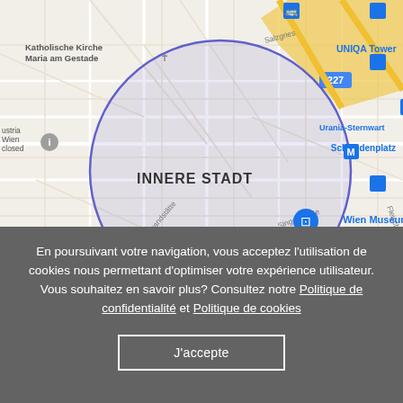[Figure (map): Google Maps view of Vienna's Innere Stadt district, showing a circular highlighted area centered around Stephansplatz and Wien Museum Mozartwohnung. Visible landmarks include Katholische Kirche Maria am Gestade, Schwedenplatz M, Urania-Sternwarte, UNIQA Tower, MAK - Museum für angewandte Kunst, and various streets like Brandstätte, Singerstraße, Fleischmarkt. The map shows transit icons, museum icons, and road network.]
En poursuivant votre navigation, vous acceptez l'utilisation de cookies nous permettant d'optimiser votre expérience utilisateur. Vous souhaitez en savoir plus? Consultez notre Politique de confidentialité et Politique de cookies
J'accepte